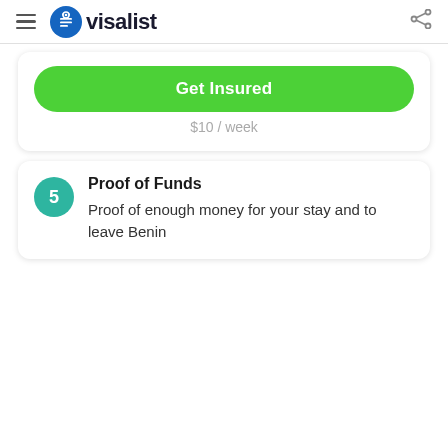visalist
Get Insured
$10 / week
Proof of Funds — Proof of enough money for your stay and to leave Benin